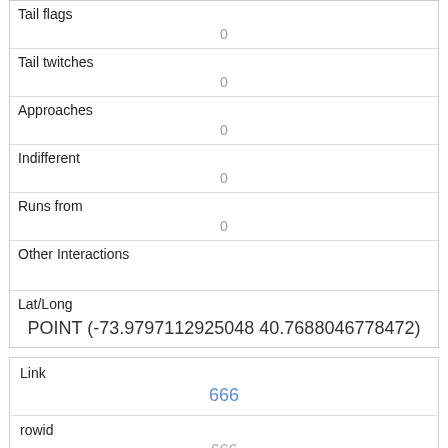| Tail flags | 0 |
| Tail twitches | 0 |
| Approaches | 0 |
| Indifferent | 0 |
| Runs from | 0 |
| Other Interactions |  |
| Lat/Long | POINT (-73.9797112925048 40.7688046778472) |
| Link | 666 |
| rowid | 666 |
| longitude | -73.96870277827259 |